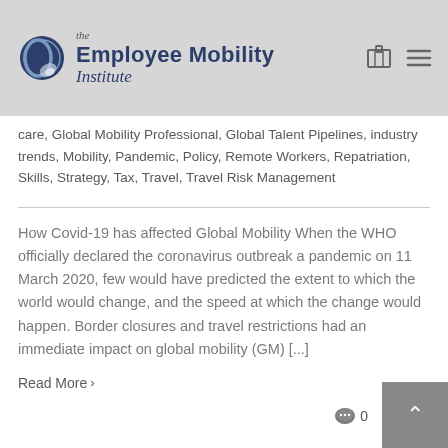the Employee Mobility Institute
care, Global Mobility Professional, Global Talent Pipelines, industry trends, Mobility, Pandemic, Policy, Remote Workers, Repatriation, Skills, Strategy, Tax, Travel, Travel Risk Management
How Covid-19 has affected Global Mobility When the WHO officially declared the coronavirus outbreak a pandemic on 11 March 2020, few would have predicted the extent to which the world would change, and the speed at which the change would happen. Border closures and travel restrictions had an immediate impact on global mobility (GM) [...]
Read More > 0